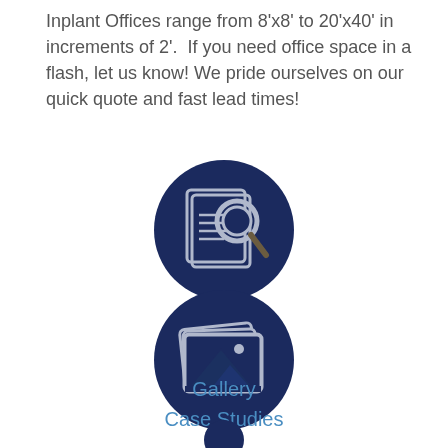Inplant Offices range from 8'x8' to 20'x40' in increments of 2'.  If you need office space in a flash, let us know! We pride ourselves on our quick quote and fast lead times!
[Figure (illustration): Dark navy blue circle icon with a document and magnifying glass symbol inside]
[Figure (illustration): Dark navy blue circle icon with stacked photo/image frames showing a mountain landscape]
Gallery
Case Studies
[Figure (illustration): Dark navy blue circle icon partially visible at bottom of page]